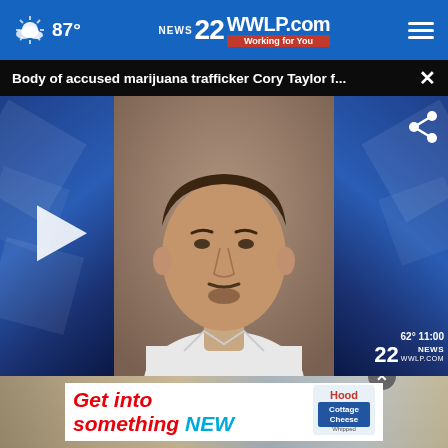87° | 22 WWLP.com Working for You
Body of accused marijuana trafficker Cory Taylor f...
[Figure (screenshot): Mugshot photo of Cory Taylor, a man with short dark hair and a goatee wearing a white t-shirt, against a neutral background. The image is shown as a video thumbnail with a play button on the left side, share icon on the upper right, and 22 News channel bug with 62° 11:00 on the lower right. Blue graphic background panels flank the mugshot.]
[Figure (photo): Lower portion shows a partially visible ad background image with drinks on a table, with an X close button overlay and a white Hood Cottage Cheese advertisement banner reading 'Get into something NEW']